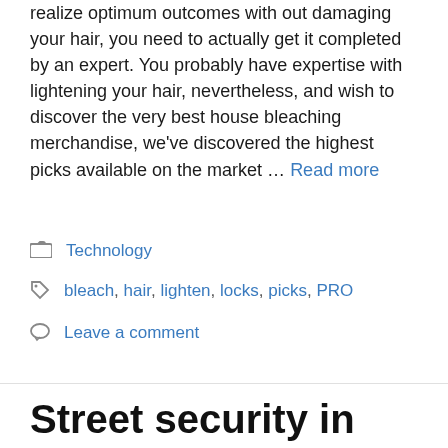Bleaching hair is a tough source of and, to realize optimum outcomes with out damaging your hair, you need to actually get it completed by an expert. You probably have expertise with lightening your hair, nevertheless, and wish to discover the very best house bleaching merchandise, we've discovered the highest picks available on the market … Read more
Technology
bleach, hair, lighten, locks, picks, PRO
Leave a comment
Street security in